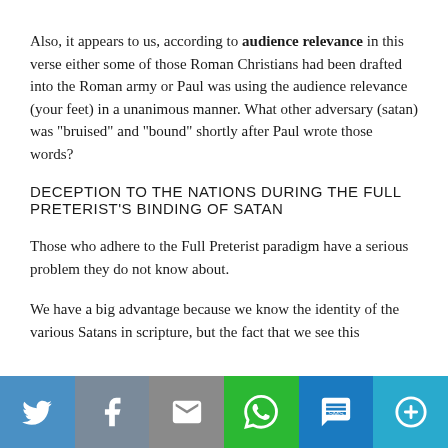Also, it appears to us, according to audience relevance in this verse either some of those Roman Christians had been drafted into the Roman army or Paul was using the audience relevance (your feet) in a unanimous manner. What other adversary (satan) was “bruised” and “bound” shortly after Paul wrote those words?
DECEPTION TO THE NATIONS DURING THE FULL PRETERIST’S BINDING OF SATAN
Those who adhere to the Full Preterist paradigm have a serious problem they do not know about.
We have a big advantage because we know the identity of the various Satans in scripture, but the fact that we see this
[Figure (infographic): Social media share bar with icons for Twitter, Facebook, Email, WhatsApp, SMS, and More]